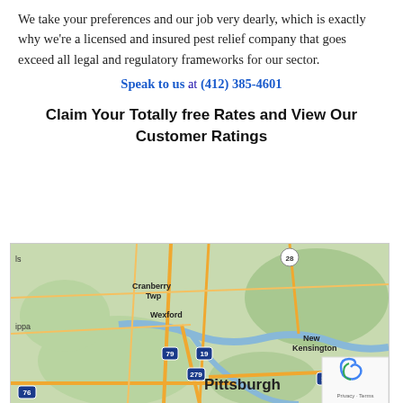We take your preferences and our job very dearly, which is exactly why we're a licensed and insured pest relief company that goes exceed all legal and regulatory frameworks for our sector.
Speak to us at (412) 385-4601
Claim Your Totally free Rates and View Our Customer Ratings
[Figure (map): Google Maps view of Pittsburgh, PA area showing Cranberry Twp, Wexford, New Kensington, and Pittsburgh with highways 76, 79, 19, 279, 376, and 28 labeled.]